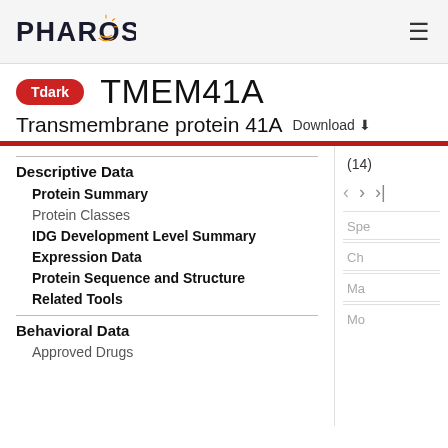PHAROS
TMEM41A
Tdark
Transmembrane protein 41A  Download
Descriptive Data
Protein Summary
Protein Classes
IDG Development Level Summary
Expression Data
Protein Sequence and Structure
Related Tools
Behavioral Data
Approved Drugs
(14)
Spe
Ch
Ma
Mo